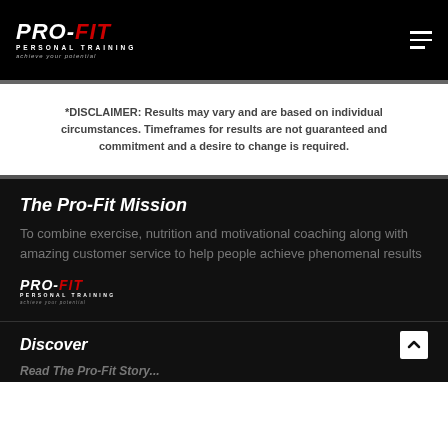[Figure (logo): PRO-FIT PERSONAL TRAINING logo in header, white and red text on black background, with tagline 'achieve your potential']
*DISCLAIMER: Results may vary and are based on individual circumstances. Timeframes for results are not guaranteed and commitment and a desire to change is required.
The Pro-Fit Mission
To combine exercise, nutrition and motivational coaching along with amazing customer service to help people achieve phenomenal results
[Figure (logo): PRO-FIT PERSONAL TRAINING logo, white and red italic text on black background, tagline 'achieve your potential']
Discover
Read The Pro-Fit Story...